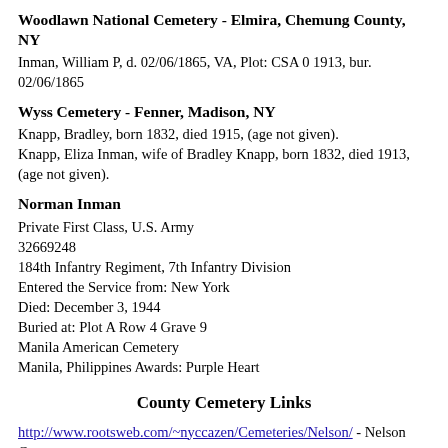Woodlawn National Cemetery - Elmira, Chemung County, NY
Inman, William P, d. 02/06/1865, VA, Plot: CSA 0 1913, bur. 02/06/1865
Wyss Cemetery - Fenner, Madison, NY
Knapp, Bradley, born 1832, died 1915, (age not given).
Knapp, Eliza Inman, wife of Bradley Knapp, born 1832, died 1913, (age not given).
Norman Inman
Private First Class, U.S. Army
32669248
184th Infantry Regiment, 7th Infantry Division
Entered the Service from: New York
Died: December 3, 1944
Buried at: Plot A Row 4 Grave 9
Manila American Cemetery
Manila, Philippines Awards: Purple Heart
County Cemetery Links
http://www.rootsweb.com/~nyccazen/Cemeteries/Nelson/ - Nelson Co.